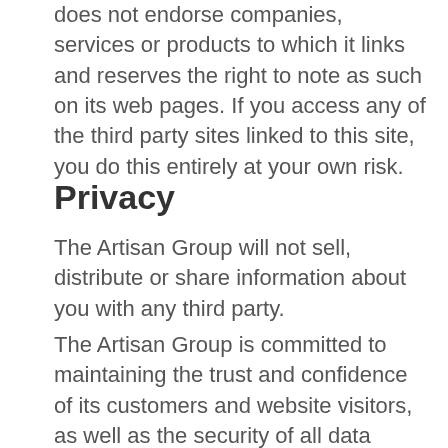does not endorse companies, services or products to which it links and reserves the right to note as such on its web pages. If you access any of the third party sites linked to this site, you do this entirely at your own risk.
Privacy
The Artisan Group will not sell, distribute or share information about you with any third party.
The Artisan Group is committed to maintaining the trust and confidence of its customers and website visitors, as well as the security of all data collected for any purpose. Because your